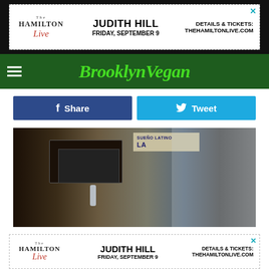[Figure (photo): Top banner advertisement for The Hamilton Live featuring Judith Hill, Friday September 9, with details and tickets at thehamiltonlive.com]
BrooklynVegan
[Figure (other): Share and Tweet social media buttons]
[Figure (photo): Photo of DJ equipment and setup at what appears to be an outdoor event, with a sign reading SUENO LATINO visible in the background]
[Figure (photo): Advertisement for The Hamilton Live featuring Judith Hill, Friday September 9, details and tickets at thehamiltonlive.com]
New York dubstepper FaltyDL (aka Drew Lustman), who just opened for Radiohead when they were in town, has signed
[Figure (photo): Advertisement for The Hamilton Live featuring Joslyn & The Sweet Compression, Friday August 26, details and tickets at thehamiltonlive.com]